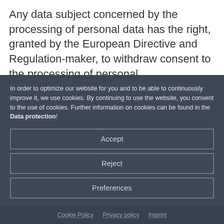Any data subject concerned by the processing of personal data has the right, granted by the European Directive and Regulation-maker, to withdraw consent to the processing of personal
In order to optimize our website for you and to be able to continuously improve it, we use cookies. By continuing to use the website, you consent to the use of cookies. Further information on cookies can be found in the Data protection!
Accept
Reject
Preferences
Cookie Policy   Privacy policy   Imprint